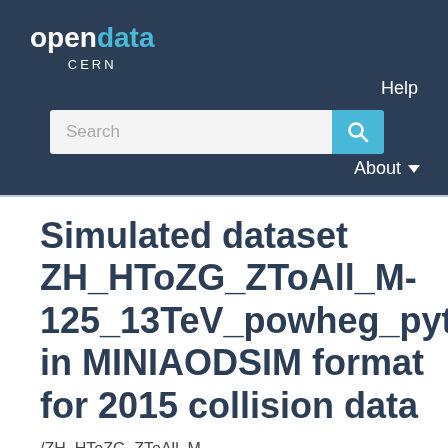opendata CERN
Help
Search
About
Simulated dataset ZH_HToZG_ZToAll_M-125_13TeV_powheg_pythia8 in MINIAODSIM format for 2015 collision data
/ZH_HToZG_ZToAll_M-125_13TeV_powheg_pythia8/RunIIFall15MiniAODv2-